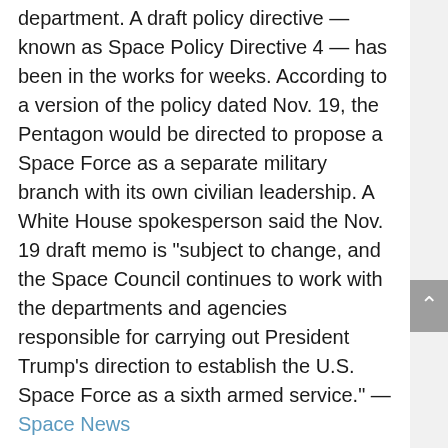department. A draft policy directive — known as Space Policy Directive 4 — has been in the works for weeks. According to a version of the policy dated Nov. 19, the Pentagon would be directed to propose a Space Force as a separate military branch with its own civilian leadership. A White House spokesperson said the Nov. 19 draft memo is "subject to change, and the Space Council continues to work with the departments and agencies responsible for carrying out President Trump's direction to establish the U.S. Space Force as a sixth armed service." — Space News
9 US Companies Are Going to the Moon! Here Are NASA's New Partners.
NASA has selected the first batch of U.S. companies to join the agency on its journey to its next destination,